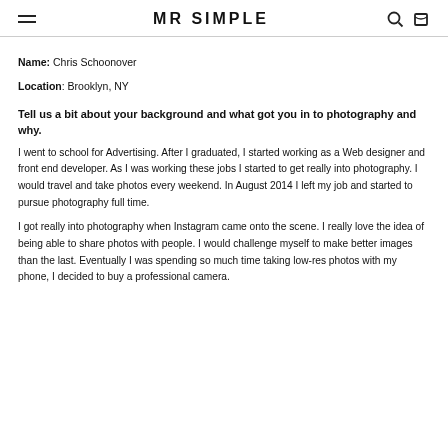MR SIMPLE
Name: Chris Schoonover
Location: Brooklyn, NY
Tell us a bit about your background and what got you in to photography and why.
I went to school for Advertising. After I graduated, I started working as a Web designer and front end developer. As I was working these jobs I started to get really into photography. I would travel and take photos every weekend. In August 2014 I left my job and started to pursue photography full time.
I got really into photography when Instagram came onto the scene. I really love the idea of being able to share photos with people. I would challenge myself to make better images than the last. Eventually I was spending so much time taking low-res photos with my phone, I decided to buy a professional camera.